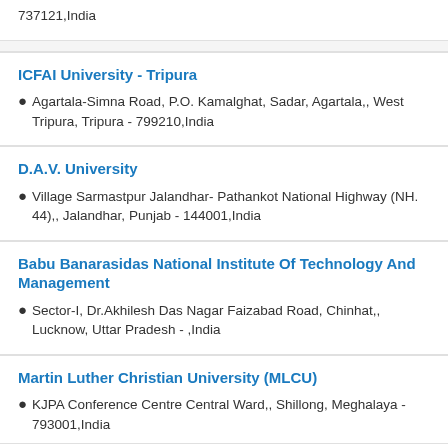737121,India
ICFAI University - Tripura
Agartala-Simna Road, P.O. Kamalghat, Sadar, Agartala,, West Tripura, Tripura - 799210,India
D.A.V. University
Village Sarmastpur Jalandhar- Pathankot National Highway (NH. 44),, Jalandhar, Punjab - 144001,India
Babu Banarasidas National Institute Of Technology And Management
Sector-I, Dr.Akhilesh Das Nagar Faizabad Road, Chinhat,, Lucknow, Uttar Pradesh - ,India
Martin Luther Christian University (MLCU)
KJPA Conference Centre Central Ward,, Shillong, Meghalaya - 793001,India